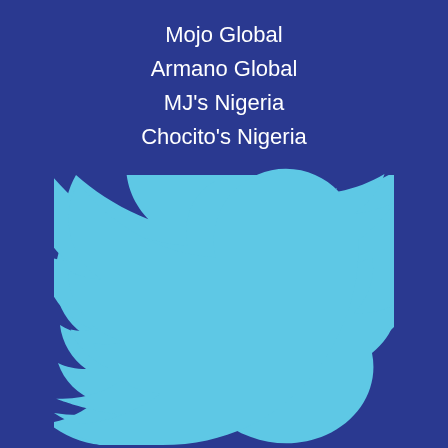Mojo Global
Armano Global
MJ's Nigeria
Chocito's Nigeria
[Figure (logo): Twitter bird logo in light blue on dark blue background]